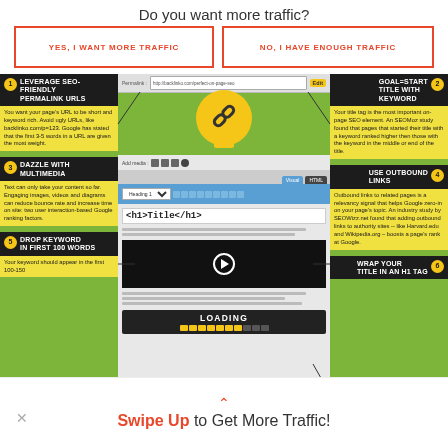Do you want more traffic?
YES, I WANT MORE TRAFFIC
NO, I HAVE ENOUGH TRAFFIC
[Figure (infographic): SEO infographic showing a browser/WordPress editor mockup in the center with surrounding tip panels: 1. Leverage SEO-Friendly Permalink URLs, 2. Goal=Start Title with Keyword, 3. Dazzle with Multimedia, 4. Use Outbound Links, 5. Drop Keyword in First 100 Words, 6. Wrap Your Title in an H1 Tag. Center shows browser with permalink bar, WordPress editor with heading, video block, and loading bar.]
Swipe Up to Get More Traffic!